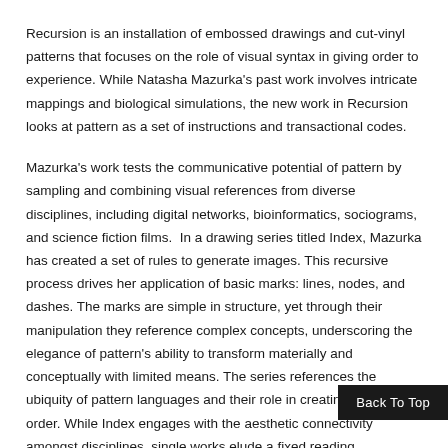Recursion is an installation of embossed drawings and cut-vinyl patterns that focuses on the role of visual syntax in giving order to experience. While Natasha Mazurka's past work involves intricate mappings and biological simulations, the new work in Recursion looks at pattern as a set of instructions and transactional codes.
Mazurka's work tests the communicative potential of pattern by sampling and combining visual references from diverse disciplines, including digital networks, bioinformatics, sociograms, and science fiction films.  In a drawing series titled Index, Mazurka has created a set of rules to generate images. This recursive process drives her application of basic marks: lines, nodes, and dashes. The marks are simple in structure, yet through their manipulation they reference complex concepts, underscoring the elegance of pattern's ability to transform materially and conceptually with limited means. The series references the ubiquity of pattern languages and their role in creating a sense of order. While Index engages with the aesthetic connectivity amongst disciplines, single works elude a fixed reading.
The presentation of the embossed drawings—centera
Back To Top